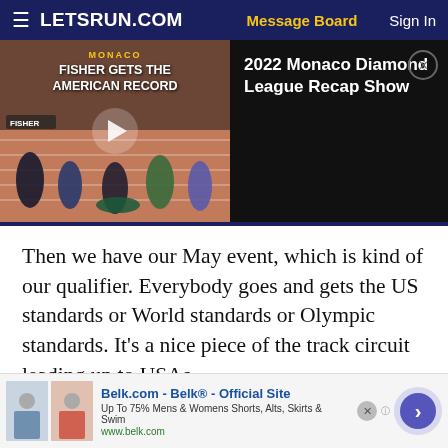LETSRUN.COM | Message Board | Sign In
[Figure (screenshot): Video thumbnail of a track race with overlay text 'MONACO - FISHER GETS THE AMERICAN RECORD' with a play button, alongside a dark panel showing '2022 Monaco Diamond League Recap Show']
Then we have our May event, which is kind of our qualifier. Everybody goes and gets the US standards or World standards or Olympic standards. It’s a nice piece of the track circuit leading up to USAs.
And we have our threesome Sunset Tour meets
[Figure (screenshot): Advertisement banner for Belk.com showing clothing images, title 'Belk.com - Belk® - Official Site', subtitle 'Up To 75% Mens & Womens Shorts, Alts, Skirts & Swim', url 'www.belk.com', with a blue arrow button and close button]